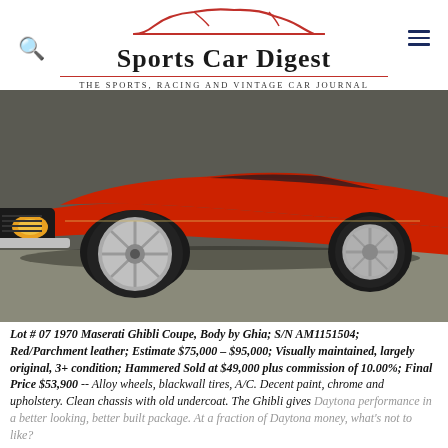[Figure (logo): Sports Car Digest logo with red car silhouette outline above the text, subtitle 'The Sports, Racing and Vintage Car Journal']
[Figure (photo): Red 1970 Maserati Ghibli Coupe photographed from the front-left angle in an indoor setting, showing the hood, headlights, front wheel with alloy rim, and side profile.]
Lot # 07 1970 Maserati Ghibli Coupe, Body by Ghia; S/N AM1151504; Red/Parchment leather; Estimate $75,000 – $95,000; Visually maintained, largely original, 3+ condition; Hammered Sold at $49,000 plus commission of 10.00%; Final Price $53,900 -- Alloy wheels, blackwall tires, A/C. Decent paint, chrome and upholstery. Clean chassis with old undercoat. The Ghibli gives Daytona performance in a better looking, better built package. At a fraction of Daytona money, what's not to like?